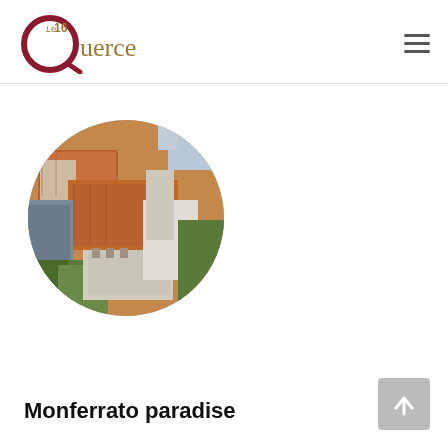Le 16 Querce
[Figure (photo): Aerial view of a historic Italian town (Monferrato) showing terracotta-roofed buildings, towers, and trees, cropped in a circle]
Monferrato paradise